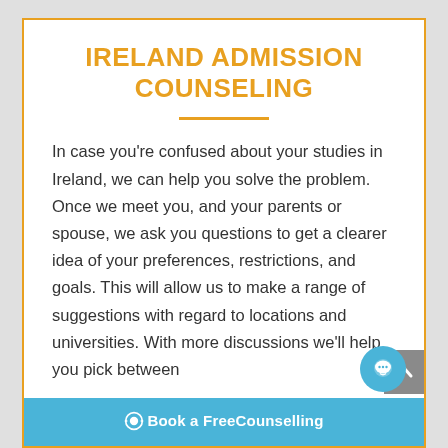IRELAND ADMISSION COUNSELING
In case you're confused about your studies in Ireland, we can help you solve the problem. Once we meet you, and your parents or spouse, we ask you questions to get a clearer idea of your preferences, restrictions, and goals. This will allow us to make a range of suggestions with regard to locations and universities. With more discussions we'll help you pick between
Book a FreeCounselling